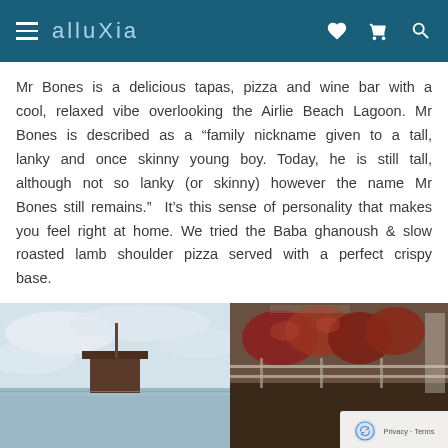alluXia
Mr Bones is a delicious tapas, pizza and wine bar with a cool, relaxed vibe overlooking the Airlie Beach Lagoon. Mr Bones is described as a “family nickname given to a tall, lanky and once skinny young boy. Today, he is still tall, although not so lanky (or skinny) however the name Mr Bones still remains.”  It’s this sense of personality that makes you feel right at home. We tried the Baba ghanoush & slow roasted lamb shoulder pizza served with a perfect crispy base.
[Figure (photo): Photo of Airlie Beach Lagoon area with a structure visible against a cloudy sky]
[Figure (photo): Photo of food items, appears to be pizza or tapas dishes on a dark surface]